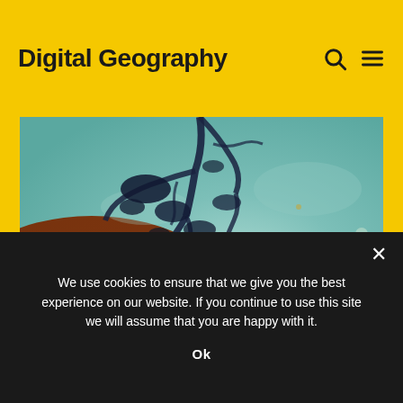Digital Geography
[Figure (map): Satellite/remote sensing image showing a river delta or coastal region with blue-green terrain, dark water channels branching from top center, and a reddish-brown area in the lower-left. The image appears to be a false-color satellite view.]
We use cookies to ensure that we give you the best experience on our website. If you continue to use this site we will assume that you are happy with it.
Ok